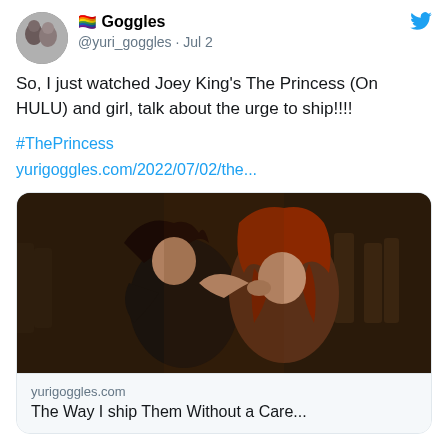🏳️‍🌈 Goggles @yuri_goggles · Jul 2
So, I just watched Joey King's The Princess (On HULU) and girl, talk about the urge to ship!!!!
#ThePrincess
yurigoggles.com/2022/07/02/the...
[Figure (photo): Two women hugging each other in a movie scene; one has dark hair, the other has long red/auburn hair. Scene appears medieval/fantasy setting.]
yurigoggles.com
The Way I ship Them Without a Care...
1 reply, 7 likes